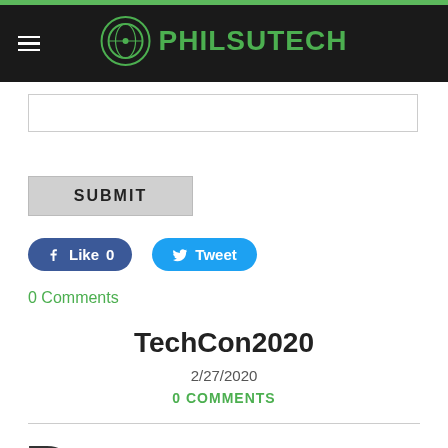PHILSUTECH
[Figure (other): Input text box (form field)]
[Figure (other): Submit button]
[Figure (other): Social media buttons: Like 0 (Facebook) and Tweet (Twitter)]
0 Comments
TechCon2020
2/27/2020
0 COMMENTS
P...